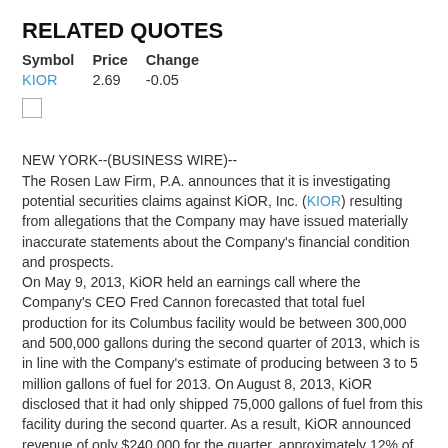RELATED QUOTES
| Symbol | Price | Change |
| --- | --- | --- |
| KIOR | 2.69 | -0.05 |
NEW YORK--(BUSINESS WIRE)-- The Rosen Law Firm, P.A. announces that it is investigating potential securities claims against KiOR, Inc. (KIOR) resulting from allegations that the Company may have issued materially inaccurate statements about the Company's financial condition and prospects. On May 9, 2013, KiOR held an earnings call where the Company's CEO Fred Cannon forecasted that total fuel production for its Columbus facility would be between 300,000 and 500,000 gallons during the second quarter of 2013, which is in line with the Company's estimate of producing between 3 to 5 million gallons of fuel for 2013. On August 8, 2013, KiOR disclosed that it had only shipped 75,000 gallons of fuel from this facility during the second quarter. As a result, KiOR announced revenue of only $240,000 for the quarter, approximately 12% of the $1.93